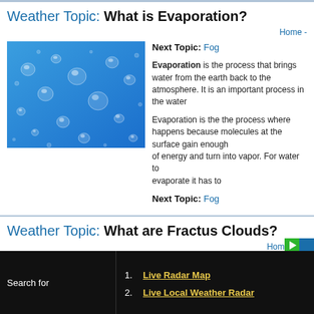Weather Topic: What is Evaporation?
Home -
[Figure (photo): Close-up photo of water droplets on a blue surface]
Next Topic: Fog
Evaporation is the process that brings water from the earth back to the atmosphere. It is an important process in the water cycle.
Evaporation is the process where liquid water happens because molecules at the surface gain enough of energy and turn into vapor. For water to evaporate it has to...
Next Topic: Fog
Weather Topic: What are Fractus Clouds?
Home - Ed
1. Live Radar Map
2. Live Local Weather Radar
Search for